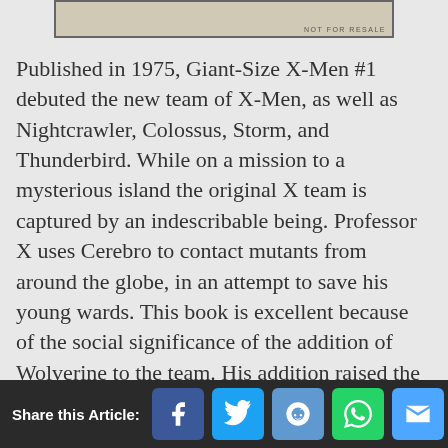[Figure (other): Top portion of a comic book cover (Giant-Size X-Men #1) showing partial imagery with 'NOT FOR RESALE' text]
Published in 1975, Giant-Size X-Men #1 debuted the new team of X-Men, as well as Nightcrawler, Colossus, Storm, and Thunderbird. While on a mission to a mysterious island the original X team is captured by an indescribable being. Professor X uses Cerebro to contact mutants from around the globe, in an attempt to save his young wards. This book is excellent because of the social significance of the addition of Wolverine to the team. His addition raised the stakes for fans. Showing the dark edges that would become the X-Men's reality in the
Share this Article: [Facebook] [Twitter] [Reddit] [WhatsApp] [Email]